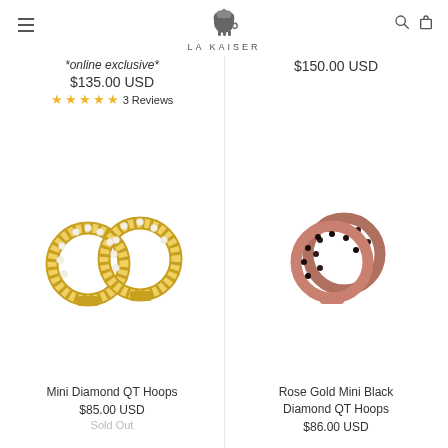LA KAISER
*online exclusive*
$135.00 USD
★★★★★ 3 Reviews
$150.00 USD
[Figure (photo): Two gold hoop earrings with diamond accents (Mini Diamond QT Hoops)]
Mini Diamond QT Hoops
$85.00 USD
Sold Out
[Figure (photo): Two rose gold hoop earrings with black diamond accents (Rose Gold Mini Black Diamond QT Hoops)]
Rose Gold Mini Black Diamond QT Hoops
$86.00 USD